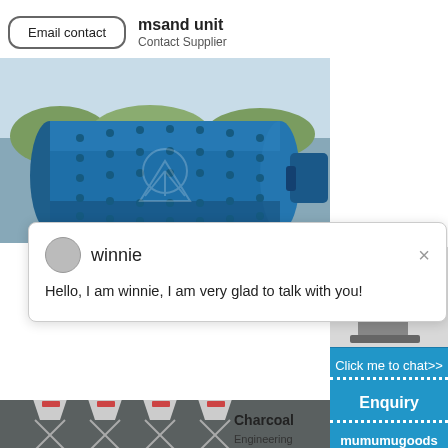Email contact
msand unit
Contact Supplier
[Figure (photo): Blue industrial ball mill / grinding machine photographed outdoors]
winnie
Hello, I am winnie, I am very glad to talk with you!
[Figure (photo): Concrete batching plant / mixing station with large metal silos]
[Figure (photo): Industrial machine (crusher or mill) with blue circular badge showing number 1]
Click me to chat>>
Enquiry
mumumugoods
Charcoal
Mill
Engineering